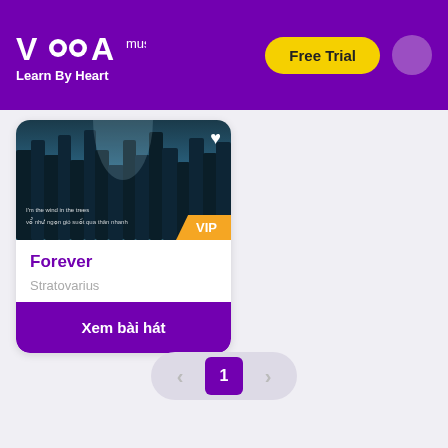VOCA music — Learn By Heart
[Figure (screenshot): Song card for 'Forever' by Stratovarius with a forest image, VIP badge, and heart icon]
Forever
Stratovarius
Xem bài hát
1